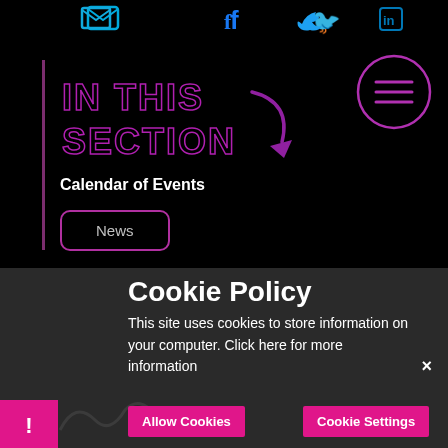[Figure (screenshot): Social media icons row: email envelope, Facebook, Twitter bird, LinkedIn logos in blue/cyan at top of black page]
[Figure (illustration): Neon pink/purple outlined text reading IN THIS SECTION with a curving arrow pointing down-right]
[Figure (illustration): Purple neon circle with three horizontal lines (hamburger menu icon) in top right]
Calendar of Events
News
Cookie Policy
This site uses cookies to store information on your computer. Click here for more information
Allow Cookies
Cookie Settings